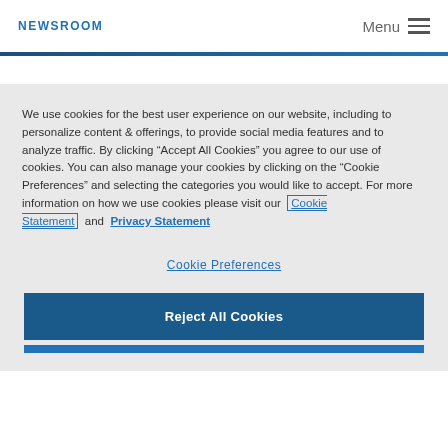NEWSROOM
We use cookies for the best user experience on our website, including to personalize content & offerings, to provide social media features and to analyze traffic. By clicking “Accept All Cookies” you agree to our use of cookies. You can also manage your cookies by clicking on the "Cookie Preferences" and selecting the categories you would like to accept. For more information on how we use cookies please visit our Cookie Statement and Privacy Statement
Cookie Preferences
Reject All Cookies